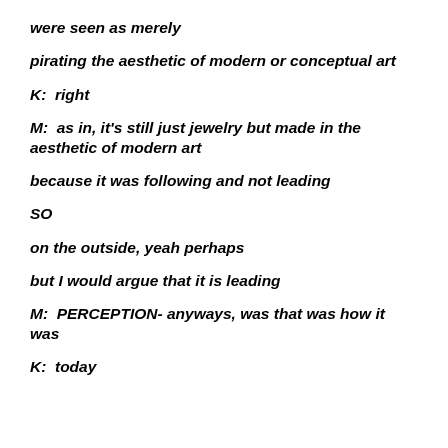were seen as merely
pirating the aesthetic of modern or conceptual art
K:  right
M:  as in, it's still just jewelry but made in the aesthetic of modern art
because it was following and not leading
SO
on the outside, yeah perhaps
but I would argue that it is leading
M:  PERCEPTION- anyways, was that was how it was
K:  today